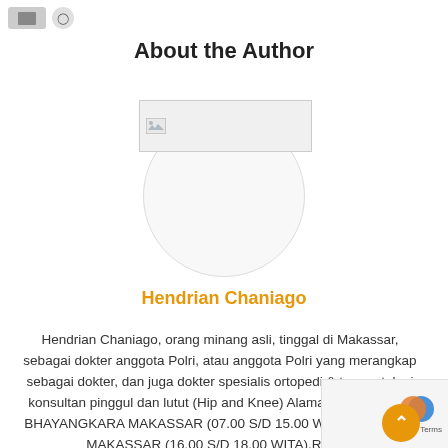About the Author
[Figure (photo): Author profile photo placeholder — a broken image icon inside a rectangle overlapping a circle, representing the author's portrait.]
Hendrian Chaniago
Hendrian Chaniago, orang minang asli, tinggal di Makassar, sebagai dokter anggota Polri, atau anggota Polri yang merangkap sebagai dokter, dan juga dokter spesialis ortopedi & traumatologi konsultan pinggul dan lutut (Hip and Knee) Alamat Praktek : RS. BHAYANGKARA MAKASSAR (07.00 S/D 15.00 WITA) HERMINA MAKASSAR (16.00 S/D 18.00 WITA).RSUD.